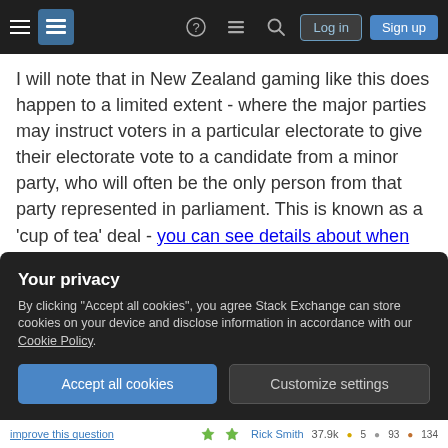Stack Exchange navigation bar with hamburger menu, logo, help, chat, search icons, Log in and Sign up buttons
I will note that in New Zealand gaming like this does happen to a limited extent - where the major parties may instruct voters in a particular electorate to give their electorate vote to a candidate from a minor party, who will often be the only person from that party represented in parliament. This is known as a 'cup of tea' deal - you can see details about when this has occurred here. Though what I'll note is that it's not as straight forward as just creating an overhang seat - New Zealand also has a complication where party vote thresholds are not
Your privacy
By clicking "Accept all cookies", you agree Stack Exchange can store cookies on your device and disclose information in accordance with our Cookie Policy.
Accept all cookies   Customize settings
improve this question    Rick Smith  37.9k • 5 • 93 • 134